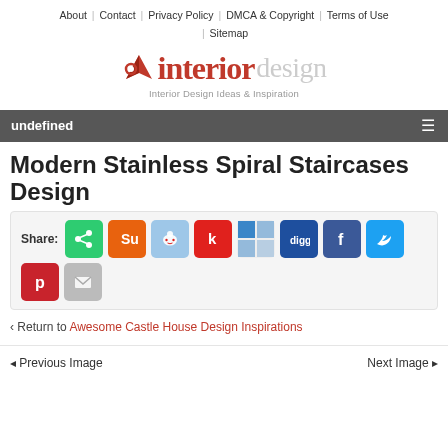About | Contact | Privacy Policy | DMCA & Copyright | Terms of Use | Sitemap
[Figure (logo): Interior Design logo with brown compass icon, 'interior' in red serif font, 'design' in grey, tagline 'Interior Design Ideas & Inspiration']
undefined
Modern Stainless Spiral Staircases Design
Share: [social share buttons: share, StumbleUpon, Reddit, Kinja, Delicious, Digg, Facebook, Twitter, Pinterest, Email]
< Return to Awesome Castle House Design Inspirations
< Previous Image   Next Image >